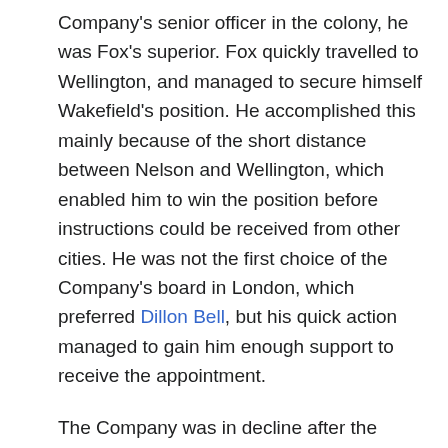Company's senior officer in the colony, he was Fox's superior. Fox quickly travelled to Wellington, and managed to secure himself Wakefield's position. He accomplished this mainly because of the short distance between Nelson and Wellington, which enabled him to win the position before instructions could be received from other cities. He was not the first choice of the Company's board in London, which preferred Dillon Bell, but his quick action managed to gain him enough support to receive the appointment.
The Company was in decline after the deaths of both Edward and Arthur Wakefield. Fox gradually became less active in the Company, taking more of an interest in the colonial government. He was a strong opponent of Governor George Grey, had suspended the New Zealand Constitution Act 1846 to grant self-government to the settlers. He frequently denounced the administration and the judiciary as corrupt and incompetent.
In 1851, Fox travelled to London on behalf of a group of